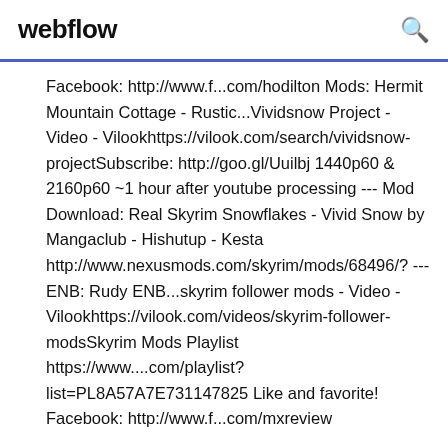webflow
Facebook: http://www.f...com/hodilton Mods: Hermit Mountain Cottage - Rustic...Vividsnow Project - Video - Vilookhttps://vilook.com/search/vividsnow-projectSubscribe: http://goo.gl/Uuilbj 1440p60 & 2160p60 ~1 hour after youtube processing --- Mod Download: Real Skyrim Snowflakes - Vivid Snow by Mangaclub - Hishutup - Kesta http://www.nexusmods.com/skyrim/mods/68496/? --- ENB: Rudy ENB...skyrim follower mods - Video - Vilookhttps://vilook.com/videos/skyrim-follower-modsSkyrim Mods Playlist https://www....com/playlist?list=PL8A57A7E731147825 Like and favorite! Facebook: http://www.f...com/mxreview